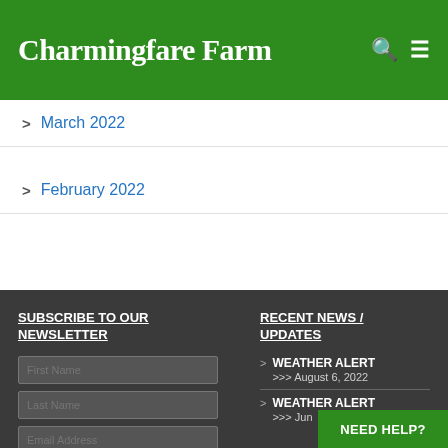Charmingfare Farm
March 2022
February 2022
SUBSCRIBE TO OUR NEWSLETTER
RECENT NEWS / UPDATES
First Name
Last Name
Email Address
WEATHER ALERT >>> August 6, 2022
WEATHER ALERT >>> Jun...
NEED HELP?